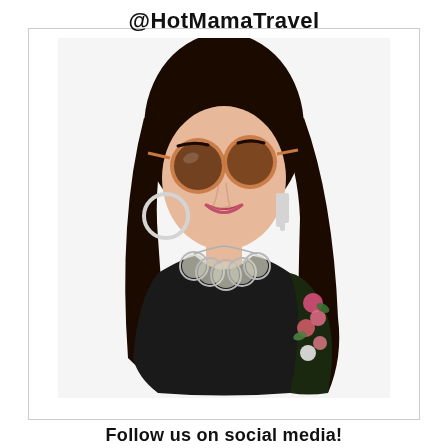@HotMamaTravel
[Figure (photo): Woman with long dark hair, wearing round tortoiseshell sunglasses, large hoop earrings, a silver circle necklace, black top, and a floral jacket. She is smiling and photographed from the waist up against a light background.]
Follow us on social media!